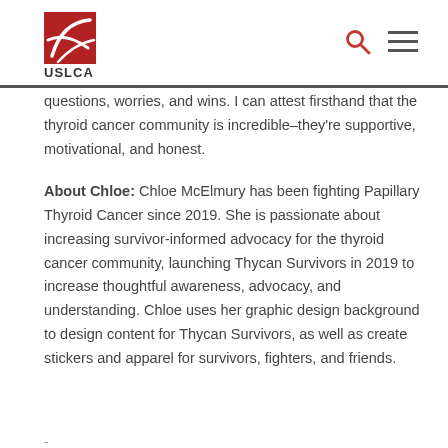[Figure (logo): USLCA logo — red square with white curved lines, text USLCA below]
questions, worries, and wins. I can attest firsthand that the thyroid cancer community is incredible–they're supportive, motivational, and honest.
About Chloe: Chloe McElmury has been fighting Papillary Thyroid Cancer since 2019. She is passionate about increasing survivor-informed advocacy for the thyroid cancer community, launching Thycan Survivors in 2019 to increase thoughtful awareness, advocacy, and understanding. Chloe uses her graphic design background to design content for Thycan Survivors, as well as create stickers and apparel for survivors, fighters, and friends.